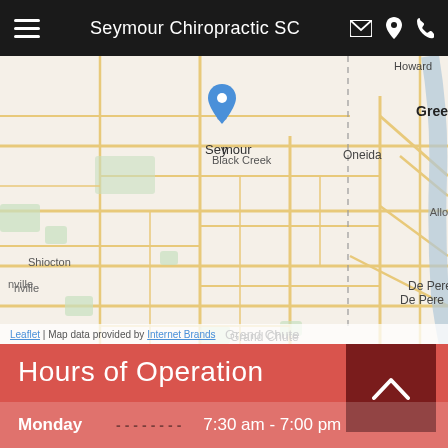Seymour Chiropractic SC
[Figure (map): Street map showing the Seymour, Wisconsin area with a blue location pin over Seymour. Surrounding area labels include Black Creek, Shiocton, Oneida, De Pere, Wrightstown, Grand Chute. Map data provided by Internet Brands via Leaflet.]
Hours of Operation
Monday  --------  7:30 am - 7:00 pm